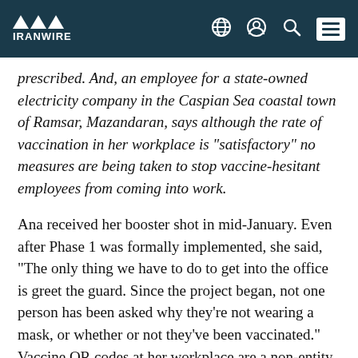IRANWIRE
prescribed. And, an employee for a state-owned electricity company in the Caspian Sea coastal town of Ramsar, Mazandaran, says although the rate of vaccination in her workplace is “satisfactory” no measures are being taken to stop vaccine-hesitant employees from coming into work.
Ana received her booster shot in mid-January. Even after Phase 1 was formally implemented, she said, “The only thing we have to do to get into the office is greet the guard. Since the project began, not one person has been asked why they’re not wearing a mask, or whether or not they’ve been vaccinated.” Vaccine QR codes at her workplace are a non-entity.
A number of residents of Gilan, Tehran and South Khorasan provinces told IranWire similar stories. The same reports have appeared in Iranian state media. By